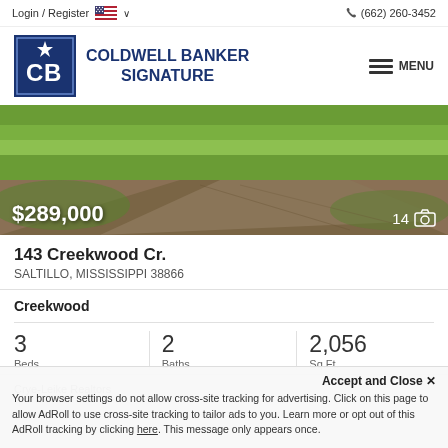Login / Register  🇺🇸 ∨    📞 (662) 260-3452
[Figure (logo): Coldwell Banker Signature logo with CB monogram in blue square]
COLDWELL BANKER SIGNATURE
≡ MENU
[Figure (photo): Exterior photo of property showing green lawn and gravel driveway. Price overlay: $289,000. Photo count: 14]
143 Creekwood Cr.
SALTILLO, MISSISSIPPI 38866
Creekwood
| Beds | Baths | Sq.Ft. |
| --- | --- | --- |
| 3 | 2 | 2,056 |
Crye-Leike Realtors
Accept and Close ✕
Your browser settings do not allow cross-site tracking for advertising. Click on this page to allow AdRoll to use cross-site tracking to tailor ads to you. Learn more or opt out of this AdRoll tracking by clicking here. This message only appears once.